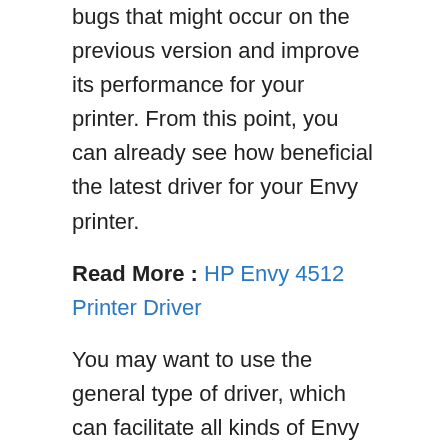bugs that might occur on the previous version and improve its performance for your printer. From this point, you can already see how beneficial the latest driver for your Envy printer.
Read More : HP Envy 4512 Printer Driver
You may want to use the general type of driver, which can facilitate all kinds of Envy driver. It is also not wrong. But, we recommend you to use the latest HP Envy Photo 6255 for more detailed features you won't get from the general version.
Where Can I Get the Latest Driver?
Fortunately, you already visited the right place